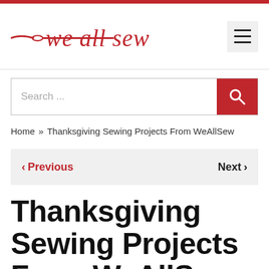we all sew
Search ...
Home » Thanksgiving Sewing Projects From WeAllSew
< Previous   Next >
Thanksgiving Sewing Projects From WeAllSew